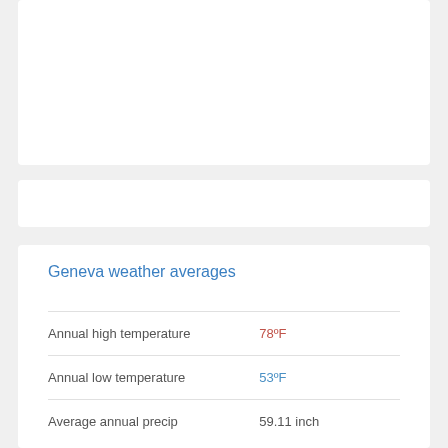Geneva weather averages
|  |  |
| --- | --- |
| Annual high temperature | 78ºF |
| Annual low temperature | 53ºF |
| Average annual precip | 59.11 inch |